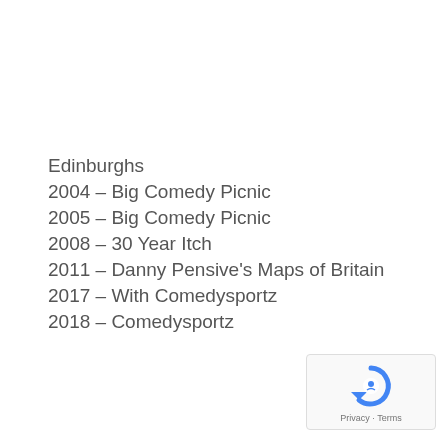Edinburghs
2004 – Big Comedy Picnic
2005 – Big Comedy Picnic
2008 – 30 Year Itch
2011 – Danny Pensive's Maps of Britain
2017 – With Comedysportz
2018 – Comedysportz
[Figure (logo): Google reCAPTCHA badge with Privacy and Terms links]